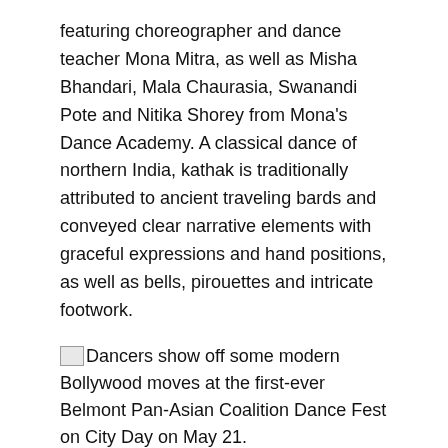featuring choreographer and dance teacher Mona Mitra, as well as Misha Bhandari, Mala Chaurasia, Swanandi Pote and Nitika Shorey from Mona's Dance Academy. A classical dance of northern India, kathak is traditionally attributed to ancient traveling bards and conveyed clear narrative elements with graceful expressions and hand positions, as well as bells, pirouettes and intricate footwork.
Dancers show off some modern Bollywood moves at the first-ever Belmont Pan-Asian Coalition Dance Fest on City Day on May 21.
Aashi Benegal and Saina Likhi broke up the classical dances with a peppy, heel-tapping Bollywood number, choreographed by Dipali Trivedi, which had the crowd roaring and cheering. Bollywood, popularized in Indian films, synthesizes dance forms from various parts of India.
The event ended with another Kathak dance which Urmi Sanyal choreographed for her students. And at a Pune dance...